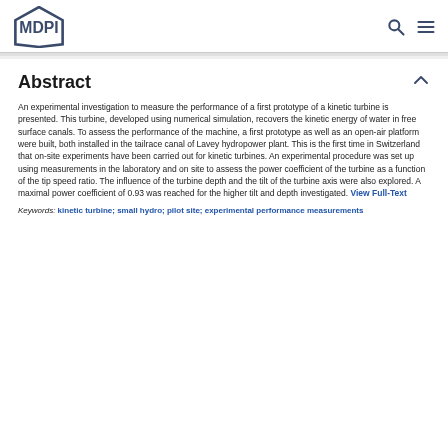MDPI
Abstract
An experimental investigation to measure the performance of a first prototype of a kinetic turbine is presented. This turbine, developed using numerical simulation, recovers the kinetic energy of water in free surface canals. To assess the performance of the machine, a first prototype as well as an open-air platform were built, both installed in the tailrace canal of Lavey hydropower plant. This is the first time in Switzerland that on-site experiments have been carried out for kinetic turbines. An experimental procedure was set up using measurements in the laboratory and on site to assess the power coefficient of the turbine as a function of the tip speed ratio. The influence of the turbine depth and the tilt of the turbine axis were also explored. A maximal power coefficient of 0.93 was reached for the higher tilt and depth investigated. View Full-Text
Keywords: kinetic turbine; small hydro; pilot site; experimental performance measurements